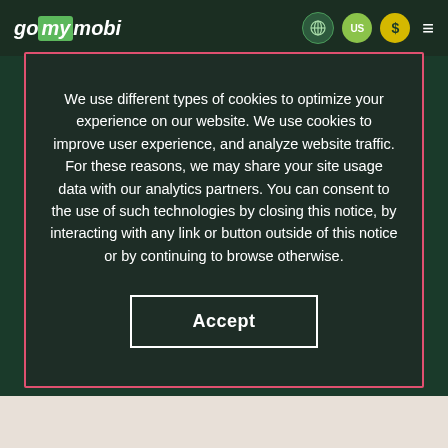gomymobi
We use different types of cookies to optimize your experience on our website. We use cookies to improve user experience, and analyze website traffic. For these reasons, we may share your site usage data with our analytics partners. You can consent to the use of such technologies by closing this notice, by interacting with any link or button outside of this notice or by continuing to browse otherwise.
Accept